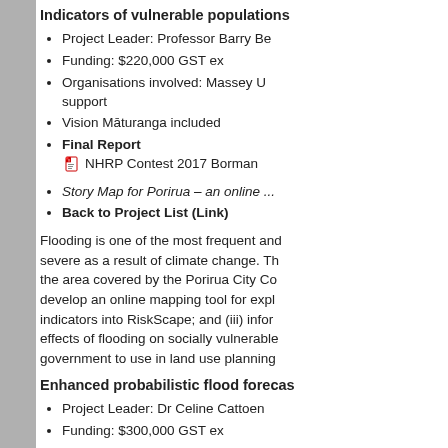Indicators of vulnerable populations
Project Leader: Professor Barry Be
Funding: $220,000 GST ex
Organisations involved: Massey U support
Vision Mātauranga included
Final Report — NHRP Contest 2017 Borman
Story Map for Porirua – an online ...
Back to Project List (Link)
Flooding is one of the most frequent and severe as a result of climate change. The area covered by the Porirua City Co develop an online mapping tool for expo indicators into RiskScape; and (iii) inform effects of flooding on socially vulnerable government to use in land use planning
Enhanced probabilistic flood forecas
Project Leader: Dr Celine Cattoen
Funding: $300,000 GST ex
Organisations involved: NIWA, ove
Final Report